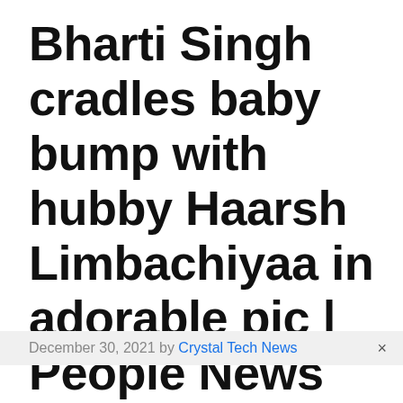Bharti Singh cradles baby bump with hubby Haarsh Limbachiyaa in adorable pic | People News
December 30, 2021 by Crystal Tech News